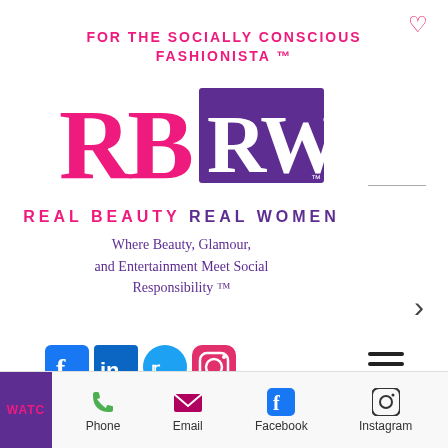FOR THE SOCIALLY CONSCIOUS FASHIONISTA ™
[Figure (logo): RBRW logo — pink serif 'RB' letters beside a purple box with white serif 'RW' letters and trademark. Text below reads REAL BEAUTY REAL WOMEN.]
Where Beauty, Glamour, and Entertainment Meet Social Responsibility ™
[Figure (infographic): Social media icons row: Facebook (blue), LinkedIn (blue), Twitter (blue), Instagram (pink/red)]
[Figure (infographic): Shopping cart icon with badge showing 0]
ne's
[Figure (infographic): PayPal Donate button — gold/yellow rounded rectangle with bold 'Donate' text]
Phone   Email   Facebook   Instagram